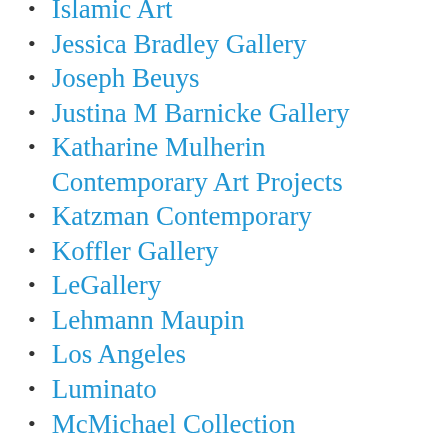Islamic Art
Jessica Bradley Gallery
Joseph Beuys
Justina M Barnicke Gallery
Katharine Mulherin Contemporary Art Projects
Katzman Contemporary
Koffler Gallery
LeGallery
Lehmann Maupin
Los Angeles
Luminato
McMichael Collection
Minimalism
MKG127
MOCCA
Museum of Art Contemporain in Montreal